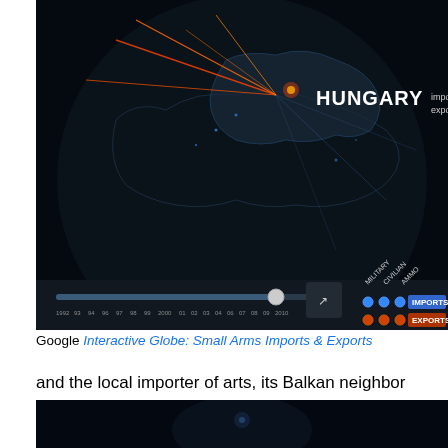[Figure (screenshot): Google Interactive Globe showing Small Arms Imports and Exports visualization. A dark globe with glowing network lines, highlighting Hungary with imported: $4,977,847 and exported: $13,323,029. Bottom shows a timeline from 1992 to 2010 with import/export toggle controls.]
Google Interactive Globe: Small Arms Imports & Exports
and the local importer of arts, its Balkan neighbor Montenegro, which seems to import a considerable amount of arms indeed–
[Figure (screenshot): Second Google Interactive Globe screenshot showing a dark view of the globe.]